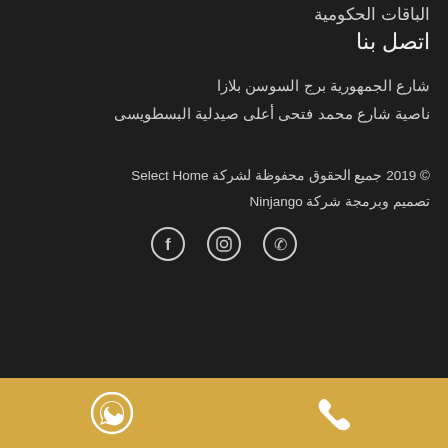الباقات الحكومية
اتصل بنا
شارع الجمهورية برج السوسن بلازا
ناصية شارع محمد فتحى أعلى صيدلية البسطويسى
© 2019 جميع الحقوق محفوظة لشركة Select Home
تصميم وبرمجة شركة Ninjango
[Figure (other): Social media icons: WhatsApp, Instagram, Facebook]
[Figure (other): Bottom golden bar with WhatsApp and phone icons]